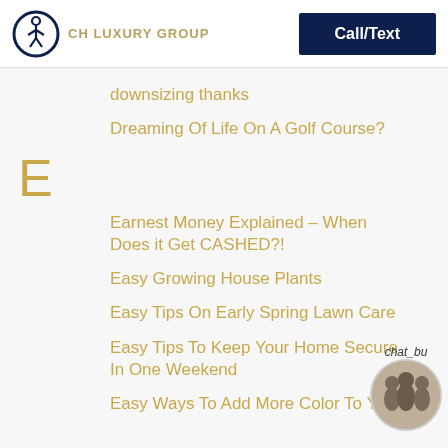CH LUXURY GROUP | Call/Text
downsizing thanks
Dreaming Of Life On A Golf Course?
E
Earnest Money Explained – When Does it Get CASHED?!
Easy Growing House Plants
Easy Tips On Early Spring Lawn Care
Easy Tips To Keep Your Home Secure In One Weekend
Easy Ways To Add More Color To Your